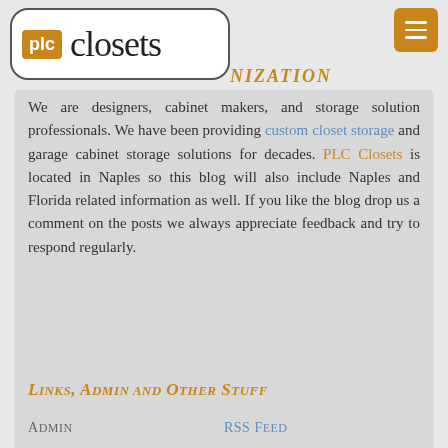[Figure (logo): PLC Closets logo: orange 'plc' badge and 'closets' text in serif font inside a rounded rectangle border]
NIZATION
We are designers, cabinet makers, and storage solution professionals. We have been providing custom closet storage and garage cabinet storage solutions for decades. PLC Closets is located in Naples so this blog will also include Naples and Florida related information as well. If you like the blog drop us a comment on the posts we always appreciate feedback and try to respond regularly.
Links, Admin and Other Stuff
Admin
RSS Feed